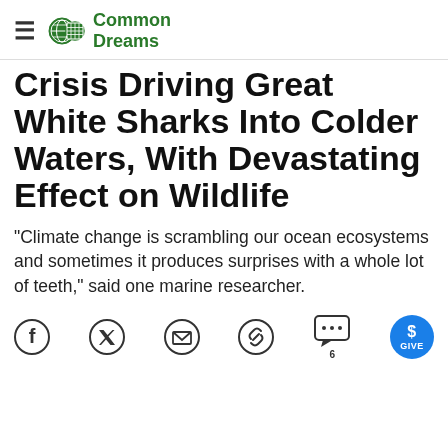Common Dreams
Crisis Driving Great White Sharks Into Colder Waters, With Devastating Effect on Wildlife
"Climate change is scrambling our ocean ecosystems and sometimes it produces surprises with a whole lot of teeth," said one marine researcher.
[Figure (infographic): Social sharing icons: Facebook, Twitter, Email, Link, Comments (6), Give button]